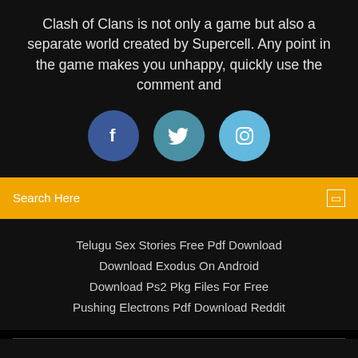Clash of Clans is not only a game but also a separate world created by Supercell. Any point in the game makes you unhappy, quickly use the comment and
[Figure (illustration): Three social media icon circles: Facebook (dark blue), Twitter (teal-blue), Instagram (light blue)]
Search Here
Telugu Sex Stories Free Pdf Download
Download Exodus On Android
Download Ps2 Pkg Files For Free
Pushing Electrons Pdf Download Reddit
Copyright ©2022 All rights reserved | This template is made with ♡ by Colorlib